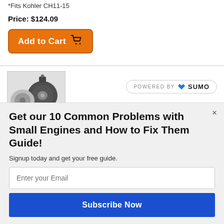*Fits Kohler CH11-15
Price: $124.09
[Figure (screenshot): Orange 'Add to Cart' button with shopping cart icon]
[Figure (photo): Product photo of engine recoil starter assembly parts on light gray background]
[Figure (logo): Powered by SUMO badge with blue crown logo]
Get our 10 Common Problems with Small Engines and How to Fix Them Guide!
Signup today and get your free guide.
Enter your Email
Subscribe Now